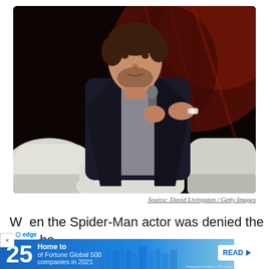[Figure (photo): A man in a dark blazer over a grey shirt, seated in a white chair, speaking into a microphone. He has brown hair and a beard. Background is dark reddish/black. Appears to be at a panel event.]
Source: David Livingston / Getty Images
When the Spider-Man actor was denied the part, he was w... he...
[Figure (screenshot): Ad overlay: Edge browser notification bar with 'Home to 25 of Fortune Global 500 companies in 2021' and a READ button with arrow. Blue background with city skyline silhouette.]